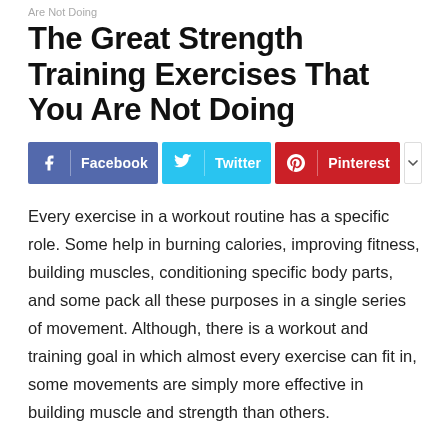Are Not Doing
The Great Strength Training Exercises That You Are Not Doing
[Figure (infographic): Social media sharing buttons for Facebook (blue), Twitter (cyan), Pinterest (red), and a more/dropdown button (white with down arrow)]
Every exercise in a workout routine has a specific role. Some help in burning calories, improving fitness, building muscles, conditioning specific body parts, and some pack all these purposes in a single series of movement. Although, there is a workout and training goal in which almost every exercise can fit in, some movements are simply more effective in building muscle and strength than others.
To be frank, there is no way to tell which exercise is more